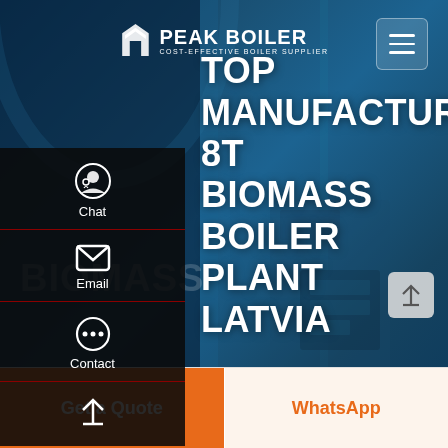[Figure (screenshot): Peak Boiler website screenshot showing logo at top center, hamburger menu button top right, side panel with Chat/Email/Contact/scroll icons on left, industrial boiler plant background image in dark blue tones, large white title text 'TOP MANUFACTURER 8T BIOMASS BOILER PLANT LATVIA', scroll-to-top button, and bottom action bar with orange 'Get a Quote' button and cream 'WhatsApp' button]
TOP MANUFACTURER 8T BIOMASS BOILER PLANT LATVIA